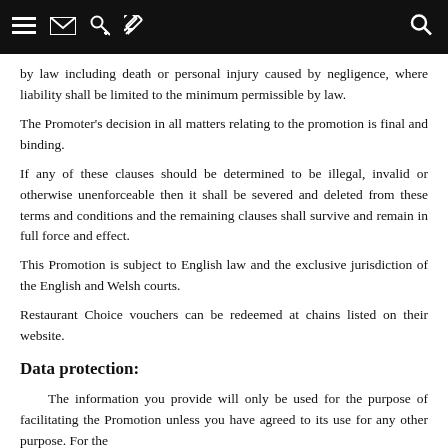[navigation icons: menu, email, key, pencil, search]
by law including death or personal injury caused by negligence, where liability shall be limited to the minimum permissible by law.
The Promoter's decision in all matters relating to the promotion is final and binding.
If any of these clauses should be determined to be illegal, invalid or otherwise unenforceable then it shall be severed and deleted from these terms and conditions and the remaining clauses shall survive and remain in full force and effect.
This Promotion is subject to English law and the exclusive jurisdiction of the English and Welsh courts.
Restaurant Choice vouchers can be redeemed at chains listed on their website.
Data protection:
The information you provide will only be used for the purpose of facilitating the Promotion unless you have agreed to its use for any other purpose. For the